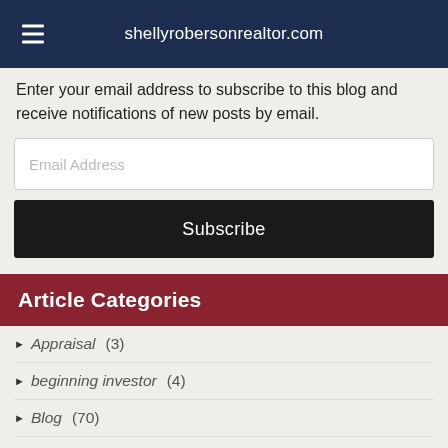shellyrobersonrealtor.com
Enter your email address to subscribe to this blog and receive notifications of new posts by email.
Article Categories
Appraisal (3)
beginning investor (4)
Blog (70)
Brokers (9)
Cash on cash return (7)